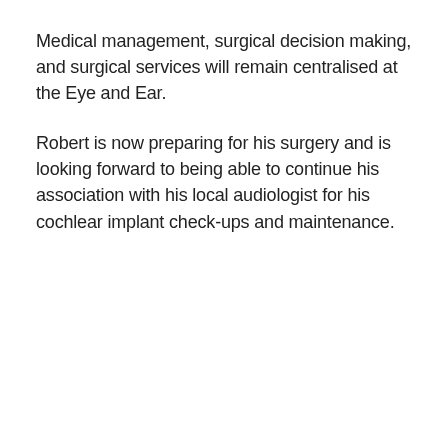Medical management, surgical decision making, and surgical services will remain centralised at the Eye and Ear.
Robert is now preparing for his surgery and is looking forward to being able to continue his association with his local audiologist for his cochlear implant check-ups and maintenance.